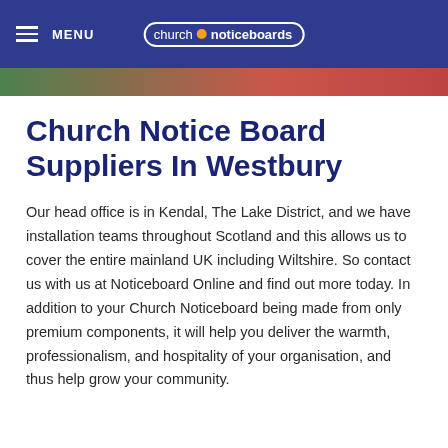MENU | church noticeboards
Church Notice Board Suppliers In Westbury
Our head office is in Kendal, The Lake District, and we have installation teams throughout Scotland and this allows us to cover the entire mainland UK including Wiltshire. So contact us with us at Noticeboard Online and find out more today. In addition to your Church Noticeboard being made from only premium components, it will help you deliver the warmth, professionalism, and hospitality of your organisation, and thus help grow your community.